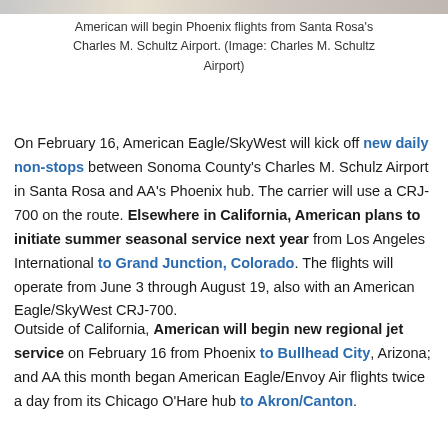[Figure (photo): Top strip of an airplane photo showing part of a red and white aircraft]
American will begin Phoenix flights from Santa Rosa's Charles M. Schultz Airport. (Image: Charles M. Schultz Airport)
On February 16, American Eagle/SkyWest will kick off new daily non-stops between Sonoma County's Charles M. Schulz Airport in Santa Rosa and AA's Phoenix hub. The carrier will use a CRJ-700 on the route. Elsewhere in California, American plans to initiate summer seasonal service next year from Los Angeles International to Grand Junction, Colorado. The flights will operate from June 3 through August 19, also with an American Eagle/SkyWest CRJ-700.
Outside of California, American will begin new regional jet service on February 16 from Phoenix to Bullhead City, Arizona; and AA this month began American Eagle/Envoy Air flights twice a day from its Chicago O'Hare hub to Akron/Canton.